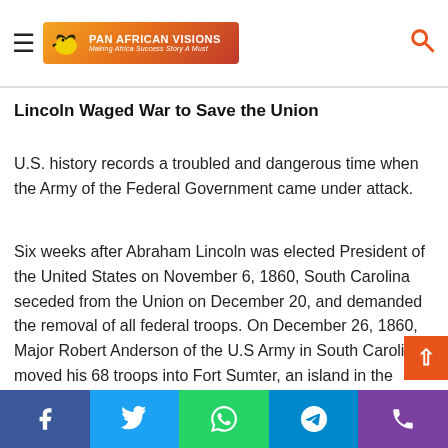Pan African Visions — Making Africa Success Story A Must
Lincoln Waged War to Save the Union
U.S. history records a troubled and dangerous time when the Army of the Federal Government came under attack.
Six weeks after Abraham Lincoln was elected President of the United States on November 6, 1860, South Carolina seceded from the Union on December 20, and demanded the removal of all federal troops. On December 26, 1860, Major Robert Anderson of the U.S Army in South Carolina, moved his 68 troops into Fort Sumter, an island in the Charleston Harbor. Immediately following his inauguration on March 4, 1861, President Lincoln was confronted with the threat of the
Facebook | Twitter | WhatsApp | Telegram | Phone